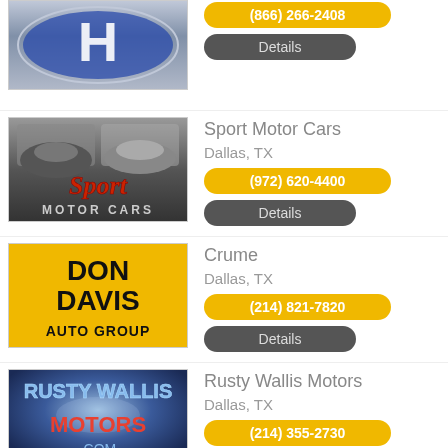[Figure (logo): Hyundai logo (partial, top cut off)]
(866) 266-2408
Details
Sport Motor Cars
Dallas, TX
[Figure (logo): Sport Motor Cars logo with cars and red cursive Sport text]
(972) 620-4400
Details
Crume
Dallas, TX
[Figure (logo): Don Davis Auto Group logo on yellow background]
(214) 821-7820
Details
Rusty Wallis Motors
Dallas, TX
[Figure (logo): Rusty Wallis Motors.com logo on dark blue background]
(214) 355-2730
Details